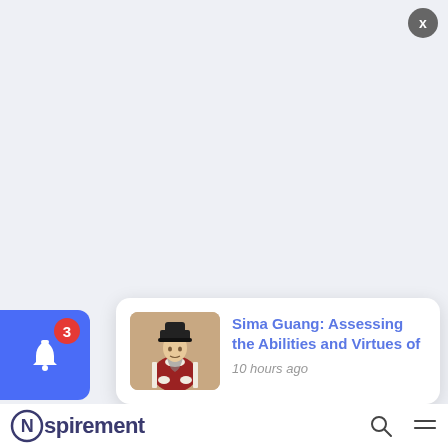[Figure (screenshot): App screenshot showing a notification popup for an article titled 'Sima Guang: Assessing the Abilities and Virtues of' posted 10 hours ago, with a small historical painting thumbnail. A notification bell button with badge '3' is visible bottom-left. Bottom bar shows Nspirement logo, search icon, and menu icon.]
3
Sima Guang: Assessing the Abilities and Virtues of
10 hours ago
Nspirement